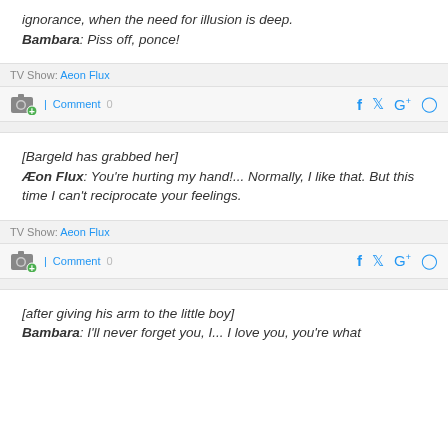ignorance, when the need for illusion is deep.
Bambara: Piss off, ponce!
TV Show: Aeon Flux
[Bargeld has grabbed her]
Æon Flux: You're hurting my hand!... Normally, I like that. But this time I can't reciprocate your feelings.
TV Show: Aeon Flux
[after giving his arm to the little boy]
Bambara: I'll never forget you, I... I love you, you're what